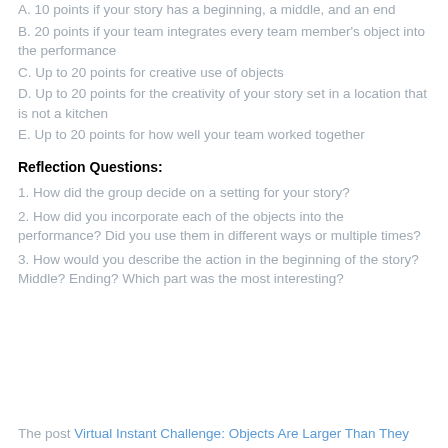A. 10 points if your story has a beginning, a middle, and an end
B. 20 points if your team integrates every team member's object into the performance
C. Up to 20 points for creative use of objects
D. Up to 20 points for the creativity of your story set in a location that is not a kitchen
E. Up to 20 points for how well your team worked together
Reflection Questions:
1. How did the group decide on a setting for your story?
2. How did you incorporate each of the objects into the performance? Did you use them in different ways or multiple times?
3. How would you describe the action in the beginning of the story? Middle? Ending? Which part was the most interesting?
The post Virtual Instant Challenge: Objects Are Larger Than They